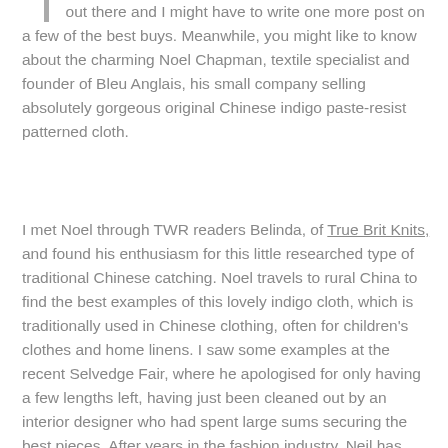out there and I might have to write one more post on a few of the best buys. Meanwhile, you might like to know about the charming Noel Chapman, textile specialist and founder of Bleu Anglais, his small company selling absolutely gorgeous original Chinese indigo paste-resist patterned cloth.
I met Noel through TWR readers Belinda, of True Brit Knits, and found his enthusiasm for this little researched type of traditional Chinese catching. Noel travels to rural China to find the best examples of this lovely indigo cloth, which is traditionally used in Chinese clothing, often for children's clothes and home linens. I saw some examples at the recent Selvedge Fair, where he apologised for only having a few lengths left, having just been cleaned out by an interior designer who had spent large sums securing the best pieces. After years in the fashion industry, Neil has developed a great eye and his stock doesn't hang around long.